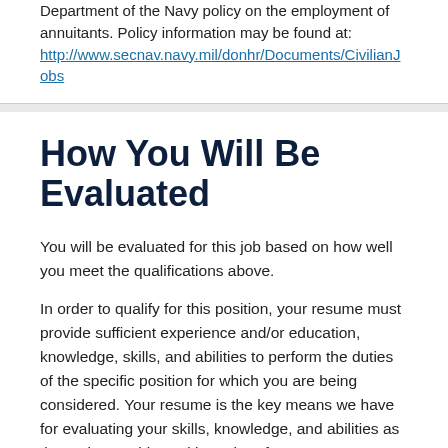Department of the Navy policy on the employment of annuitants. Policy information may be found at:
http://www.secnav.navy.mil/donhr/Documents/CivilianJobs
How You Will Be Evaluated
You will be evaluated for this job based on how well you meet the qualifications above.
In order to qualify for this position, your resume must provide sufficient experience and/or education, knowledge, skills, and abilities to perform the duties of the specific position for which you are being considered. Your resume is the key means we have for evaluating your skills, knowledge, and abilities as they relate to this position. Therefore, we encourage you to be clear and